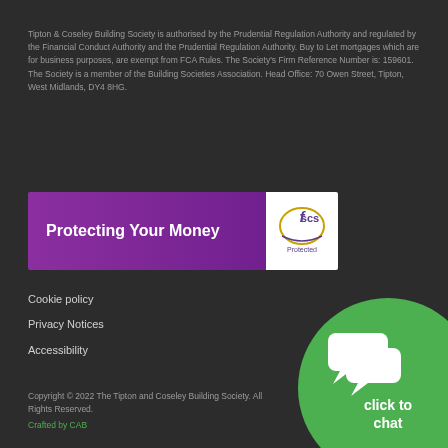Tipton & Coseley Building Society is authorised by the Prudential Regulation Authority and regulated by the Financial Conduct Authority and the Prudential Regulation Authority. Buy to Let mortgages which are for business purposes, are exempt from FCA Rules. The Society's Firm Reference Number is: 159601. The Society is a member of the Building Societies Association. Head Office: 70 Owen Street, Tipton, West Midlands, DY4 8HG.
[Figure (logo): Protecting Your Money banner with FSCS Protected logo on purple background]
Cookie policy
Privacy Notices
Accessibility
[Figure (illustration): Green circular click to chat button with speech bubble icons]
Copyright © 2022 The Tipton and Coseley Building Society. All Rights Reserved.
Crafted by CAB